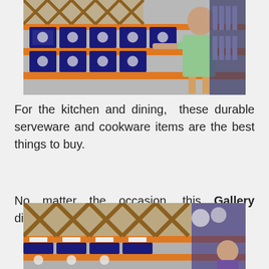[Figure (photo): A woman browsing shelves of Gallery brand dinnerware and cookware boxes in a store, with orange shelf dividers and blue product boxes displayed on racks.]
For the kitchen and dining, these durable serveware and cookware items are the best things to buy.
No matter the occasion, this Gallery dinnerware is the perfect choice.
[Figure (photo): Store shelves showing Gallery brand dinnerware products with orange shelf dividers, wine bottle holders, and a customer visible in the background.]